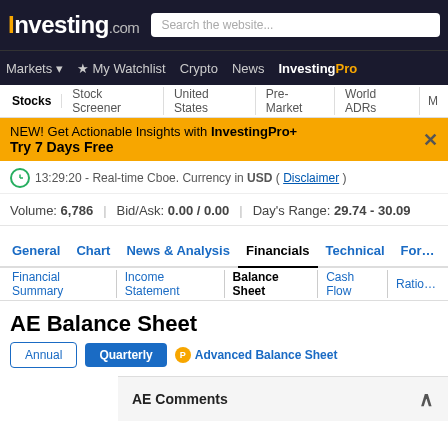Investing.com — Markets, My Watchlist, Crypto, News, InvestingPro
Stocks | Stock Screener | United States | Pre-Market | World ADRs | M...
NEW! Get Actionable Insights with InvestingPro+ Try 7 Days Free
13:29:20 - Real-time Cboe. Currency in USD ( Disclaimer )
Volume: 6,786 | Bid/Ask: 0.00 / 0.00 | Day's Range: 29.74 - 30.09
General | Chart | News & Analysis | Financials | Technical | For...
Financial Summary | Income Statement | Balance Sheet | Cash Flow | Ratios
AE Balance Sheet
Annual   Quarterly   Advanced Balance Sheet
AE Comments